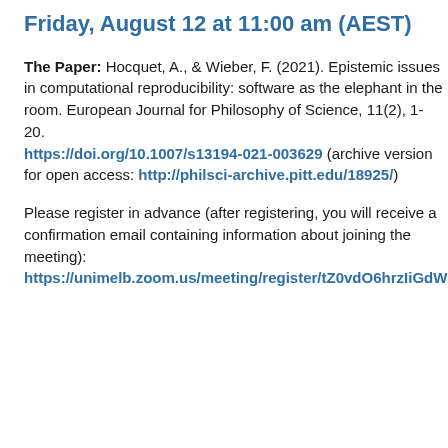Friday, August 12 at 11:00 am (AEST)
The Paper: Hocquet, A., & Wieber, F. (2021). Epistemic issues in computational reproducibility: software as the elephant in the room. European Journal for Philosophy of Science, 11(2), 1-20. https://doi.org/10.1007/s13194-021-003629 (archive version for open access: http://philsci-archive.pitt.edu/18925/)
Please register in advance (after registering, you will receive a confirmation email containing information about joining the meeting): https://unimelb.zoom.us/meeting/register/tZ0vdO6hrzIiGdWNIq-